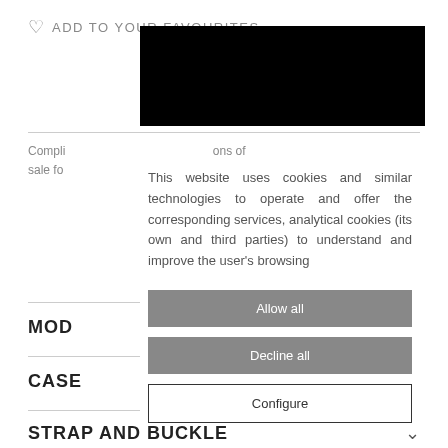ADD TO YOUR FAVOURITES
Compliments ... ons of sale fo...
This website uses cookies and similar technologies to operate and offer the corresponding services, analytical cookies (its own and third parties) to understand and improve the user's browsing
Allow all
Decline all
Configure
MODE
CASE
STRAP AND BUCKLE